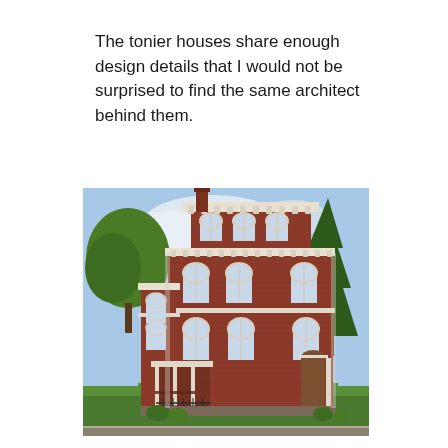The tonier houses share enough design details that I would not be surprised to find the same architect behind them.
[Figure (photo): A three-story red brick Italianate Victorian house with white decorative trim, arched windows, a cupola-like top floor, front porch with columns, and a large evergreen tree to the right. Green lawn in front, cloudy sky behind.]